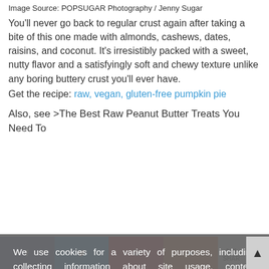Image Source: POPSUGAR Photography / Jenny Sugar
You'll never go back to regular crust again after taking a bite of this one made with almonds, cashews, dates, raisins, and coconut. It's irresistibly packed with a sweet, nutty flavor and a satisfyingly soft and chewy texture unlike any boring buttery crust you'll ever have.
Get the recipe: raw, vegan, gluten-free pumpkin pie
Also, see >The Best Raw Peanut Butter Treats You Need To
We use cookies for a variety of purposes, including collecting information about site usage, content management, providing customized content and ads, and traffic measurement and analysis. By continuing to use this site, or by clicking "OK", you agree to the use of cookies. Please review our privacy policy for more information or to opt-out from the use of cookies.
OK
Learn More